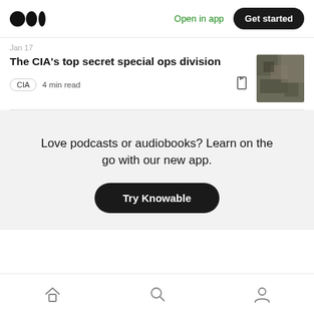Open in app  Get started
Jan 17
The CIA's top secret special ops division
CIA  4 min read
Love podcasts or audiobooks? Learn on the go with our new app.
Try Knowable